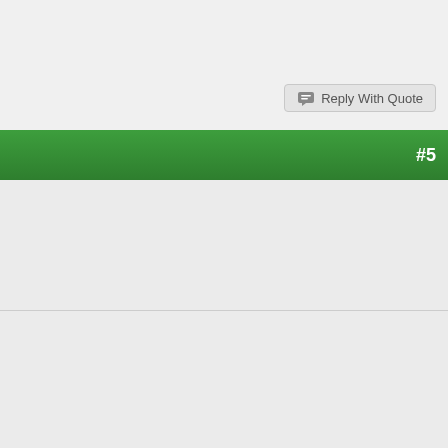Reply With Quote
#5
| Field | Value |
| --- | --- |
| Join Date: | Jun 2004 |
| Location: | Litchfield, Maine |
| Posts: | 3,592 |
e gps?